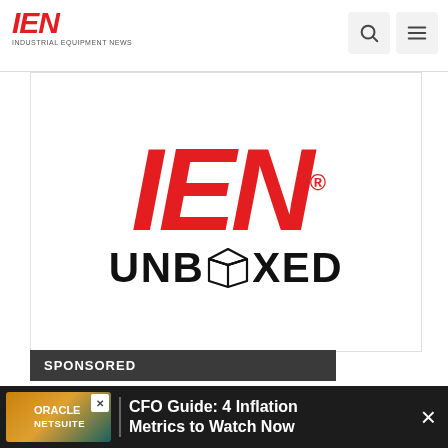IEN — Industrial Equipment News
[Figure (logo): IEN Unboxed logo: large red italic IEN text above black UNBOXED text with an open box icon replacing the O]
SPONSORED
Industrial Media Unboxing Video
IEN Unboxed is a new show in which our editors unbox new tools on the market and discuss their features.
August 4, 2022
[Figure (other): Oracle NetSuite advertisement banner: CFO Guide: 4 Inflation Metrics to Watch Now]